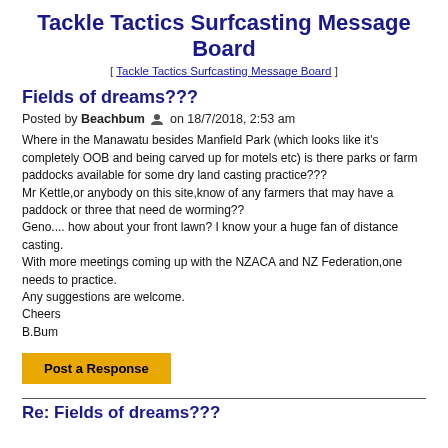Tackle Tactics Surfcasting Message Board
[ Tackle Tactics Surfcasting Message Board ]
Fields of dreams???
Posted by Beachbum 👤 on 18/7/2018, 2:53 am
Where in the Manawatu besides Manfield Park (which looks like it’s completely OOB and being carved up for motels etc) is there parks or farm paddocks available for some dry land casting practice???
Mr Kettle,or anybody on this site,know of any farmers that may have a paddock or three that need de worming??
Geno.... how about your front lawn? I know your a huge fan of distance casting.
With more meetings coming up with the NZACA and NZ Federation,one needs to practice.
Any suggestions are welcome.
Cheers
B.Bum
Post a Response
Re: Fields of dreams???